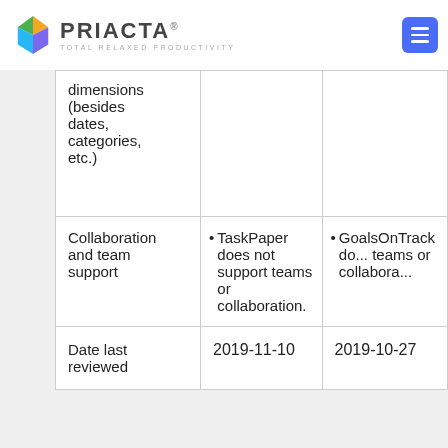PRIACTA® — TOTAL RELAXED PRODUCTIVITY
|  | TaskPaper | GoalsOnTrack |
| --- | --- | --- |
| dimensions (besides dates, categories, etc.) |  |  |
| Collaboration and team support | • TaskPaper does not support teams or collaboration. | • GoalsOnTrack do... teams or collabora... |
| Date last reviewed | 2019-11-10 | 2019-10-27 |